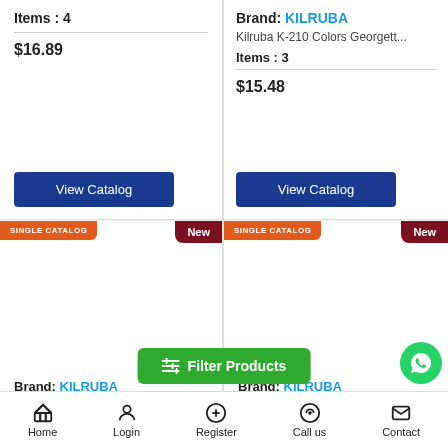Items : 4
$16.89
View Catalog
Brand: KILRUBA
Kilruba K-210 Colors Georgett...
Items : 3
$15.48
View Catalog
SINGLE CATALOG
New
SINGLE CATALOG
New
Filter Products
Brand: KILRUBA
Brand: KILRUBA
Home  Login  Register  Call us  Contact